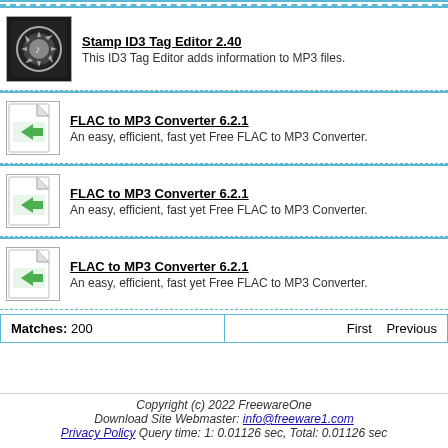Stamp ID3 Tag Editor 2.40 - This ID3 Tag Editor adds information to MP3 files.
FLAC to MP3 Converter 6.2.1 - An easy, efficient, fast yet Free FLAC to MP3 Converter.
FLAC to MP3 Converter 6.2.1 - An easy, efficient, fast yet Free FLAC to MP3 Converter.
FLAC to MP3 Converter 6.2.1 - An easy, efficient, fast yet Free FLAC to MP3 Converter.
| Matches: 200 | First  Previous |
| --- | --- |
Copyright (c) 2022 FreewareOne
Download Site Webmaster: info@freeware1.com
Privacy Policy Query time: 1: 0.01126 sec, Total: 0.01126 sec